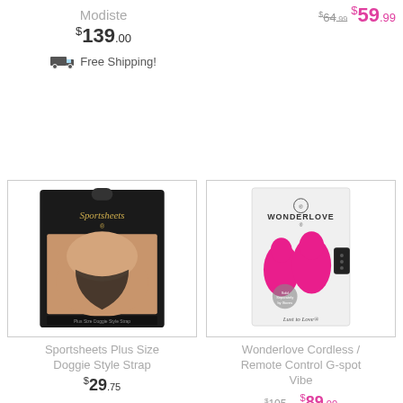Modiste
$139.00
Free Shipping!
$64.99  $59.99
[Figure (photo): Sportsheets product package with model photo]
Sportsheets Plus Size Doggie Style Strap
$29.75
[Figure (photo): Wonderlove Cordless Remote Control G-spot Vibe product box with pink toy]
Wonderlove Cordless / Remote Control G-spot Vibe
$105.00  $89.00
Free Shipping!